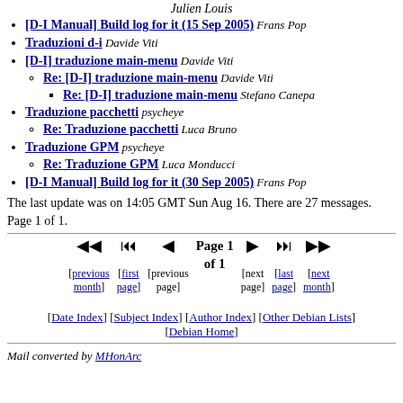[D-I Manual] Build log for it (15 Sep 2005) Frans Pop
Traduzioni d-i Davide Viti
[D-I] traduzione main-menu Davide Viti
Re: [D-I] traduzione main-menu Davide Viti
Re: [D-I] traduzione main-menu Stefano Canepa
Traduzione pacchetti psycheye
Re: Traduzione pacchetti Luca Bruno
Traduzione GPM psycheye
Re: Traduzione GPM Luca Monducci
[D-I Manual] Build log for it (30 Sep 2005) Frans Pop
The last update was on 14:05 GMT Sun Aug 16. There are 27 messages. Page 1 of 1.
Page 1 of 1 navigation with previous month, first page, previous page, next page, last page, next month
[Date Index] [Subject Index] [Author Index] [Other Debian Lists] [Debian Home]
Mail converted by MHonArc